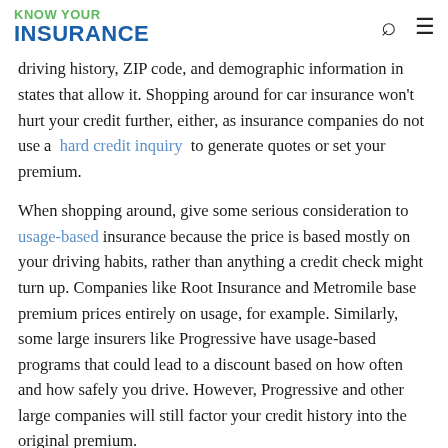KNOW YOUR INSURANCE
driving history, ZIP code, and demographic information in states that allow it. Shopping around for car insurance won't hurt your credit further, either, as insurance companies do not use a hard credit inquiry to generate quotes or set your premium.
When shopping around, give some serious consideration to usage-based insurance because the price is based mostly on your driving habits, rather than anything a credit check might turn up. Companies like Root Insurance and Metromile base premium prices entirely on usage, for example. Similarly, some large insurers like Progressive have usage-based programs that could lead to a discount based on how often and how safely you drive. However, Progressive and other large companies will still factor your credit history into the original premium.